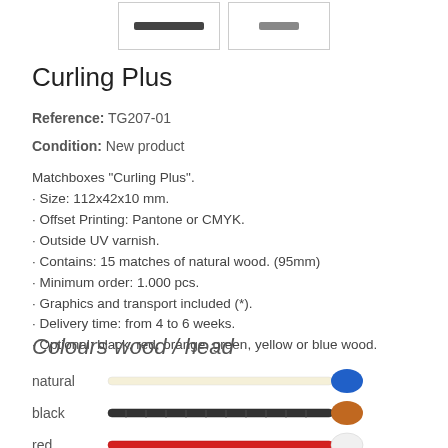[Figure (illustration): Two small product image boxes at the top of the page showing matchbox images]
Curling Plus
Reference: TG207-01
Condition: New product
Matchboxes "Curling Plus".
· Size: 112x42x10 mm.
· Offset Printing: Pantone or CMYK.
· Outside UV varnish.
· Contains: 15 matches of natural wood. (95mm)
· Minimum order: 1.000 pcs.
· Graphics and transport included (*).
· Delivery time: from 4 to 6 weeks.
· Optional: black, red, orange, green, yellow or blue wood.
Colours wood / head
[Figure (illustration): Four match stick illustrations showing colours: natural (cream stick, blue head), black (black stick, orange head), red (red stick, white head), orange (orange stick, green head)]